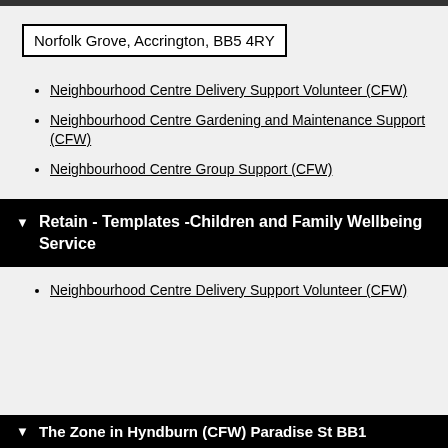Norfolk Grove, Accrington, BB5 4RY
Neighbourhood Centre Delivery Support Volunteer (CFW)
Neighbourhood Centre Gardening and Maintenance Support (CFW)
Neighbourhood Centre Group Support (CFW)
Retain - Templates -Children and Family Wellbeing Service
Neighbourhood Centre Delivery Support Volunteer (CFW)
The Zone in Hyndburn (CFW) Paradise St BB1